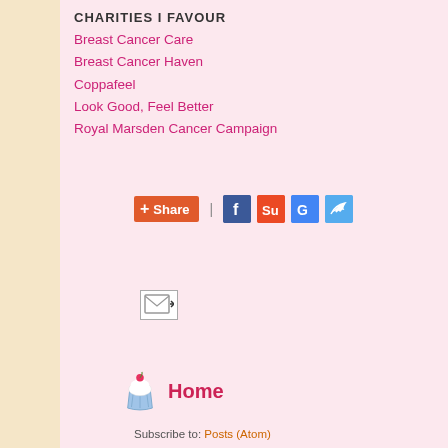CHARITIES I FAVOUR
Breast Cancer Care
Breast Cancer Haven
Coppafeel
Look Good, Feel Better
Royal Marsden Cancer Campaign
[Figure (infographic): Share button with AddThis icon and social sharing icons: Facebook, StumbleUpon, Google+, Twitter, separated by a pipe character]
[Figure (infographic): Email forward/subscribe icon: small envelope with arrow]
[Figure (infographic): Cupcake icon with cherry on top next to Home link]
Home
Subscribe to: Posts (Atom)